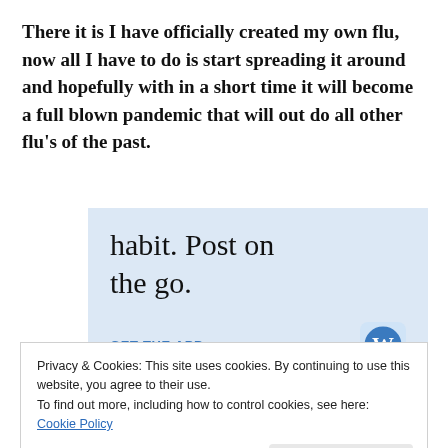There it is I have officially created my own flu, now all I have to do is start spreading it around and hopefully with in a short time it will become a full blown pandemic that will out do all other flu's of the past.
[Figure (screenshot): WordPress mobile app advertisement banner with light blue background showing text 'habit. Post on the go.' and 'GET THE APP' call to action with WordPress circular logo icon]
Privacy & Cookies: This site uses cookies. By continuing to use this website, you agree to their use.
To find out more, including how to control cookies, see here: Cookie Policy